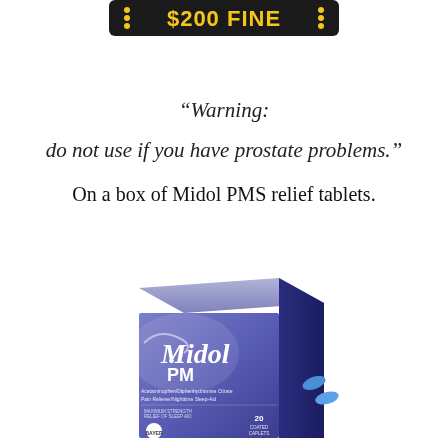[Figure (other): $200 FINE banner/sign at top of page with yellow text on dark background]
“Warning:

do not use if you have prostate problems.”

On a box of Midol PMS relief tablets.
[Figure (photo): Box of Midol PM tablets - purple/blue box with Midol PM branding, Acetaminophen/Diphenhydramine Citrate, Pain Reliever/Nighttime Sleep-Aid, 20 coated caplets, Bayer logo]